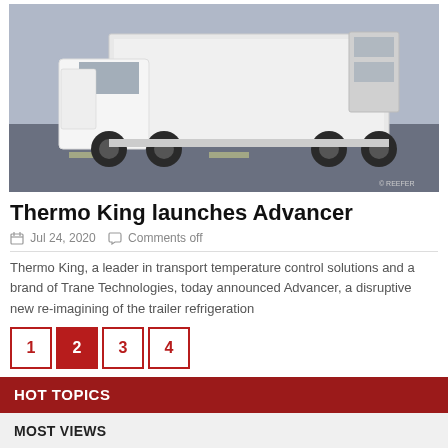[Figure (photo): Photograph of a white refrigerated truck/trailer on a road, showing the front cab and refrigeration unit on the trailer.]
Thermo King launches Advancer
Jul 24, 2020   Comments off
Thermo King, a leader in transport temperature control solutions and a brand of Trane Technologies, today announced Advancer, a disruptive new re-imagining of the trailer refrigeration
1
2
3
4
HOT TOPICS
MOST VIEWS
PVSA Trailers tested in May &